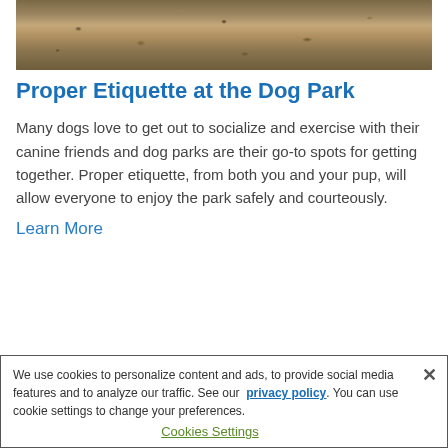[Figure (photo): Photo of dogs at a dog park with autumn leaves on the ground, partially cropped at the top of the page]
Proper Etiquette at the Dog Park
Many dogs love to get out to socialize and exercise with their canine friends and dog parks are their go-to spots for getting together. Proper etiquette, from both you and your pup, will allow everyone to enjoy the park safely and courteously.
Learn More
We use cookies to personalize content and ads, to provide social media features and to analyze our traffic. See our privacy policy. You can use cookie settings to change your preferences.
Cookies Settings